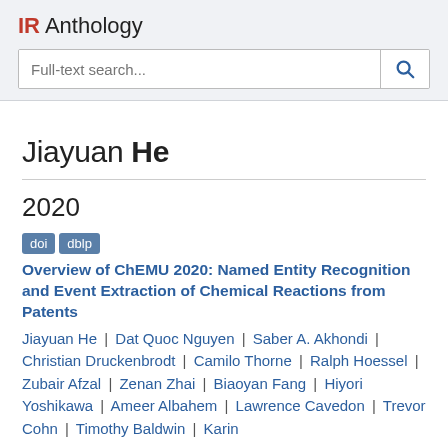IR Anthology
Jiayuan He
2020
doi  dblp
Overview of ChEMU 2020: Named Entity Recognition and Event Extraction of Chemical Reactions from Patents
Jiayuan He | Dat Quoc Nguyen | Saber A. Akhondi | Christian Druckenbrodt | Camilo Thorne | Ralph Hoessel | Zubair Afzal | Zenan Zhai | Biaoyan Fang | Hiyori Yoshikawa | Ameer Albahem | Lawrence Cavedon | Trevor Cohn | Timothy Baldwin | Karin